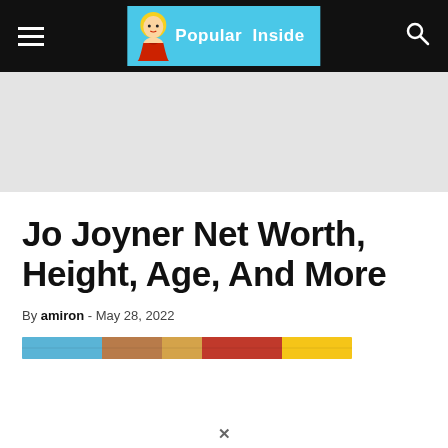Popular Inside — navigation header with logo
[Figure (other): Advertisement banner placeholder, light gray background]
Jo Joyner Net Worth, Height, Age, And More
By amiron - May 28, 2022
[Figure (photo): Partial article header image strip showing colorful scene]